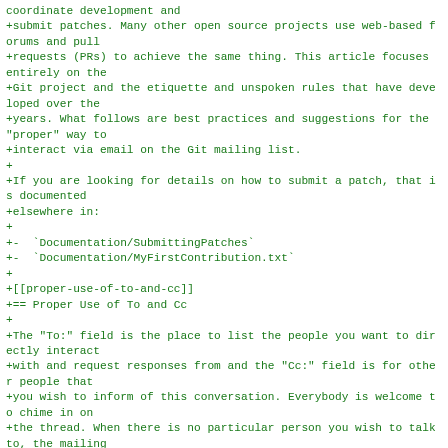coordinate development and
+submit patches. Many other open source projects use web-based forums and pull
+requests (PRs) to achieve the same thing. This article focuses entirely on the
+Git project and the etiquette and unspoken rules that have developed over the
+years. What follows are best practices and suggestions for the "proper" way to
+interact via email on the Git mailing list.
+
+If you are looking for details on how to submit a patch, that is documented
+elsewhere in:
+
+-  `Documentation/SubmittingPatches`
+-  `Documentation/MyFirstContribution.txt`
+
+[[proper-use-of-to-and-cc]]
+== Proper Use of To and Cc
+
+The "To:" field is the place to list the people you want to directly interact
+with and request responses from and the "Cc:" field is for other people that
+you wish to inform of this conversation. Everybody is welcome to chime in on
+the thread. When there is no particular person you wish to talk to, the mailing
+list address is a good catch-all addres to reach everybody and should be put in